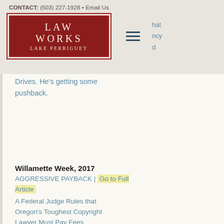CONTACT: (503) 227-1928 • Email Us
[Figure (logo): Law Works Lake Perriguey logo — dark red rectangle with white serif text]
Drives. He's getting some pushback.
Willamette Week, 2017
AGGRESSIVE PAYBACK | Go to Full Article
A Federal Judge Rules that Oregon's Toughest Copyright Lawyer Must Pay Fees
CNN, 2016
NONBINARY GENDER CHANGE PETITION GRANTED | Go to Full Article